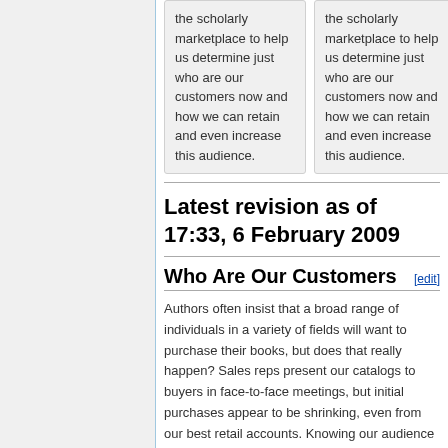the scholarly marketplace to help us determine just who are our customers now and how we can retain and even increase this audience.
the scholarly marketplace to help us determine just who are our customers now and how we can retain and even increase this audience.
Latest revision as of 17:33, 6 February 2009
Who Are Our Customers [edit]
Authors often insist that a broad range of individuals in a variety of fields will want to purchase their books, but does that really happen? Sales reps present our catalogs to buyers in face-to-face meetings, but initial purchases appear to be shrinking, even from our best retail accounts. Knowing our audience influences everything from print run